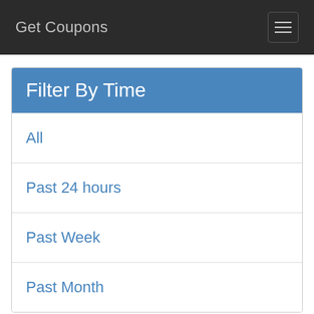Get Coupons
Filter By Time
All
Past 24 hours
Past Week
Past Month
Popular Searched
› Good coupon code names